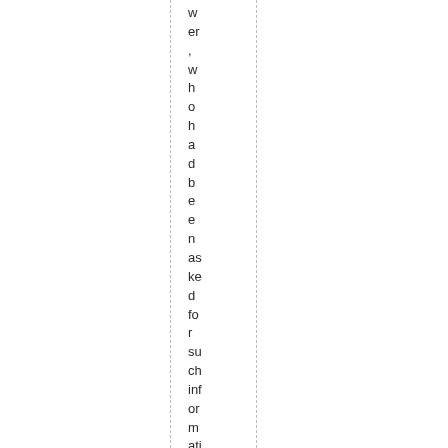wer, who had been asked for such information as had